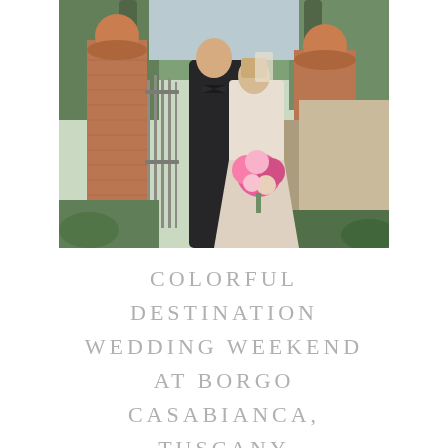[Figure (photo): A wedding couple standing between brick gate pillars with ornamental stone balls on top. The groom wears a black tuxedo and the bride wears a lace wedding gown and holds a colorful pink floral bouquet. Green trees and garden foliage are visible in the background.]
COLORFUL DESTINATION WEDDING WEEKEND AT BORGO CASABIANCA, TUSCANY